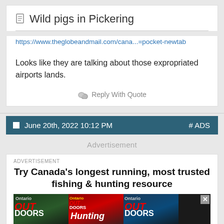Wild pigs in Pickering
https://www.theglobeandmail.com/cana...=pocket-newtab
Looks like they are talking about those expropriated airports lands.
Reply With Quote
June 20th, 2022 10:12 PM  # ADS
Advertisement
ADVERTISEMENT
Try Canada's longest running, most trusted fishing & hunting resource